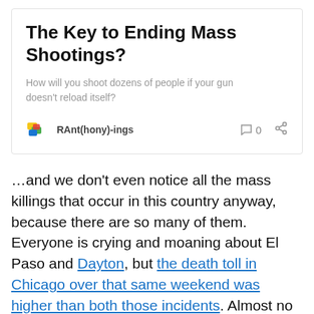The Key to Ending Mass Shootings?
How will you shoot dozens of people if your gun doesn't reload itself?
RAnt(hony)-ings   0
…and we don't even notice all the mass killings that occur in this country anyway, because there are so many of them. Everyone is crying and moaning about El Paso and Dayton, but the death toll in Chicago over that same weekend was higher than both those incidents. Almost no one outside of Chicago noticed.